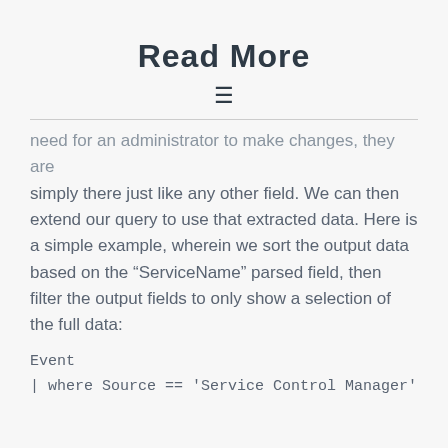Read More
need for an administrator to make changes, they are simply there just like any other field. We can then extend our query to use that extracted data. Here is a simple example, wherein we sort the output data based on the “ServiceName” parsed field, then filter the output fields to only show a selection of the full data:
Event
| where Source == 'Service Control Manager'